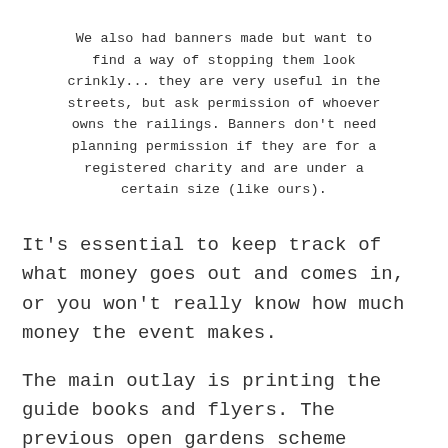We also had banners made but want to find a way of stopping them look crinkly... they are very useful in the streets, but ask permission of whoever owns the railings. Banners don't need planning permission if they are for a registered charity and are under a certain size (like ours).
It's essential to keep track of what money goes out and comes in, or you won't really know how much money the event makes.
The main outlay is printing the guide books and flyers. The previous open gardens scheme